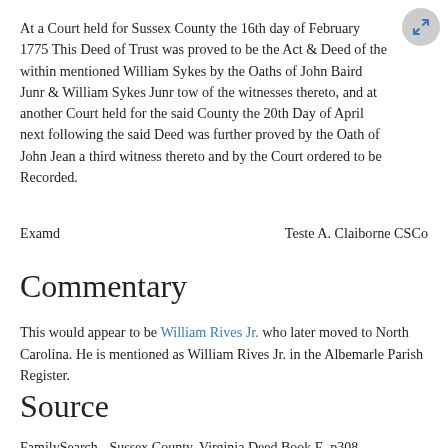At a Court held for Sussex County the 16th day of February 1775 This Deed of Trust was proved to be the Act & Deed of the within mentioned William Sykes by the Oaths of John Baird Junr & William Sykes Junr tow of the witnesses thereto, and at another Court held for the said County the 20th Day of April next following the said Deed was further proved by the Oath of John Jean a third witness thereto and by the Court ordered to be Recorded.
Examd                                                    Teste A. Claiborne CSCo
Commentary
This would appear to be William Rives Jr. who later moved to North Carolina. He is mentioned as William Rives Jr. in the Albemarle Parish Register.
Source
FamilySearch - Sussex County, Virginia Deed Book E, p308
Contributors to this page: Jonathan_Reeves .
Page last modified on Thursday, 21 of November, 2019 12:16:20 CST by